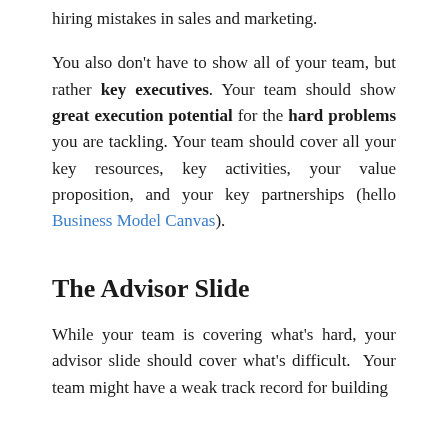hiring mistakes in sales and marketing.
You also don't have to show all of your team, but rather key executives. Your team should show great execution potential for the hard problems you are tackling. Your team should cover all your key resources, key activities, your value proposition, and your key partnerships (hello Business Model Canvas).
The Advisor Slide
While your team is covering what's hard, your advisor slide should cover what's difficult. Your team might have a weak track record for building